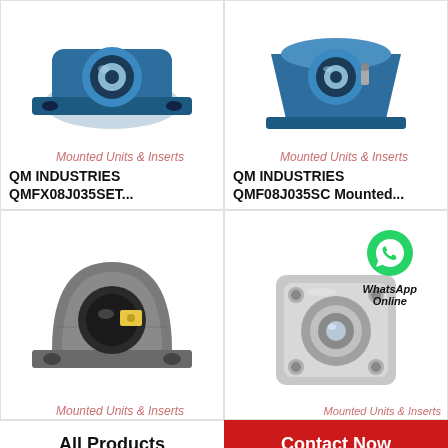[Figure (photo): Blue flange-mounted bearing unit (QM Industries QMFX08J035SET), two-bolt oval flange mount]
Mounted Units & Inserts
QM INDUSTRIES QMFX08J035SET...
[Figure (photo): Blue pillow block bearing unit (QM Industries QMF08J035SC), single bolt mounting]
Mounted Units & Inserts
QM INDUSTRIES QMF08J035SC Mounted...
[Figure (photo): Grey cast iron pillow block bearing unit with yellow label sticker]
Mounted Units & Inserts
[Figure (photo): Silver/chrome square four-bolt flange mounted bearing unit with WhatsApp Online badge overlay]
Mounted Units & Inserts
WhatsApp Online
All Products
Contact Now